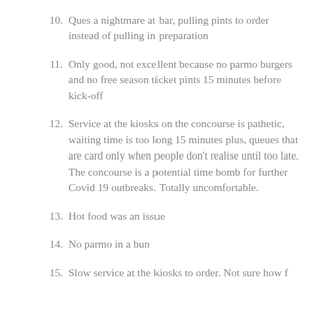10. Ques a nightmare at bar, pulling pints to order instead of pulling in preparation
11. Only good, not excellent because no parmo burgers and no free season ticket pints 15 minutes before kick-off
12. Service at the kiosks on the concourse is pathetic, waiting time is too long 15 minutes plus, queues that are card only when people don't realise until too late. The concourse is a potential time bomb for further Covid 19 outbreaks. Totally uncomfortable.
13. Hot food was an issue
14. No parmo in a bun
15. Slow service at the kiosks to order. Not sure how f…